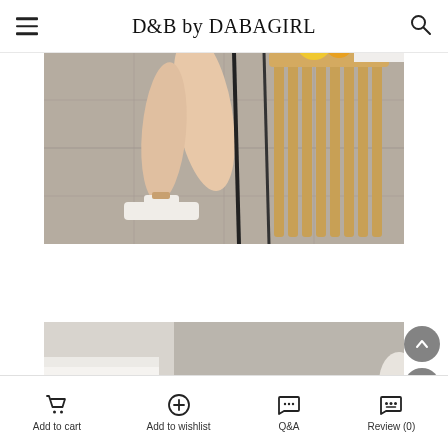D&B by DABAGIRL
[Figure (photo): Close-up photo of a woman's legs wearing white slide sandals sitting on a chair with thin black metal legs; a wooden slatted stool with fruit on it visible to the right; grey stone tile floor.]
[Figure (photo): Partial photo showing a light grey/beige interior corner with a white cube-shaped object and a partial view of another item at right edge.]
Add to cart   Add to wishlist   Q&A   Review (0)